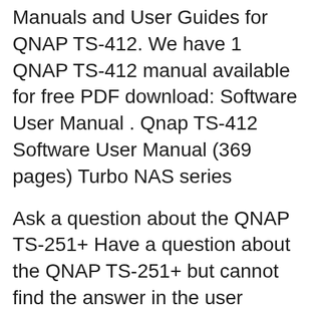Manuals and User Guides for QNAP TS-412. We have 1 QNAP TS-412 manual available for free PDF download: Software User Manual . Qnap TS-412 Software User Manual (369 pages) Turbo NAS series
Ask a question about the QNAP TS-251+ Have a question about the QNAP TS-251+ but cannot find the answer in the user manual? Perhaps the users of ManualsCat.com can help you answer your question. By filling in the form below, your question will appear below the manual of the QNAP TS-251+. QNAP Turbo NAS. Software User Manual TS-221, TS-239 Pro, TS-239 Pro II, TS-239 Pro II+, TS-259 Pro, TS-259 Pro+, HS-